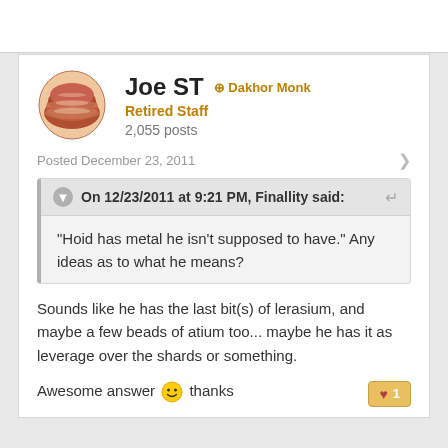[Figure (illustration): Avatar image of sliced meat/roast, circular, used as forum profile picture]
Joe ST  Dakhor Monk
Retired Staff
2,055 posts
Posted December 23, 2011
On 12/23/2011 at 9:21 PM, Finallity said:
"Hoid has metal he isn't supposed to have." Any ideas as to what he means?
Sounds like he has the last bit(s) of lerasium, and maybe a few beads of atium too... maybe he has it as leverage over the shards or something.
Awesome answer  thanks